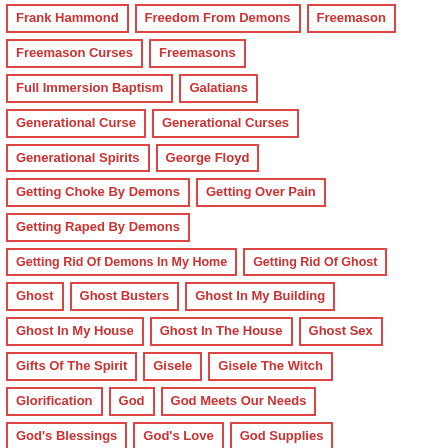Frank Hammond
Freedom From Demons
Freemason
Freemason Curses
Freemasons
Full Immersion Baptism
Galatians
Generational Curse
Generational Curses
Generational Spirits
George Floyd
Getting Choke By Demons
Getting Over Pain
Getting Raped By Demons
Getting Rid Of Demons In My Home
Getting Rid Of Ghost
Ghost
Ghost Busters
Ghost In My Building
Ghost In My House
Ghost In The House
Ghost Sex
Gifts Of The Spirit
Gisele
Gisele The Witch
Glorification
God
God Meets Our Needs
God's Blessings
God's Love
God Supplies
God Will Provide
Guardian Angels
Guardians Of God